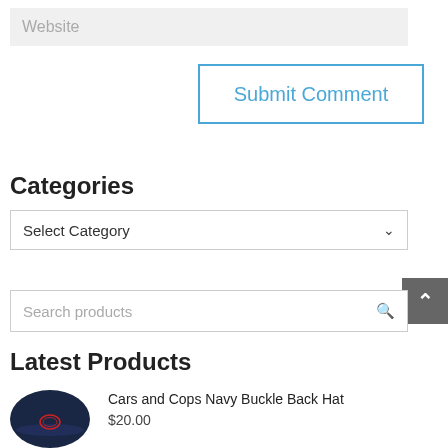Website
Submit Comment
Categories
Select Category
Search products
Latest Products
Cars and Cops Navy Buckle Back Hat
$20.00